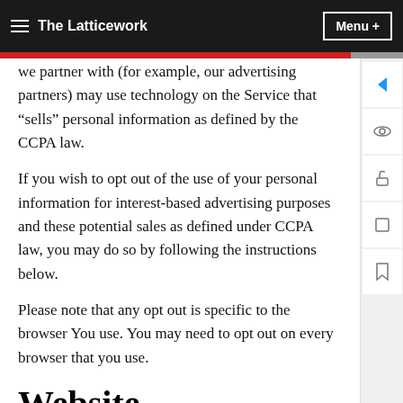The Latticework  |  Menu +
we partner with (for example, our advertising partners) may use technology on the Service that “sells” personal information as defined by the CCPA law.
If you wish to opt out of the use of your personal information for interest-based advertising purposes and these potential sales as defined under CCPA law, you may do so by following the instructions below.
Please note that any opt out is specific to the browser You use. You may need to opt out on every browser that you use.
Website
You can opt out of receiving ads that are personalized as served by our Service Providers by following our instructions presented on the